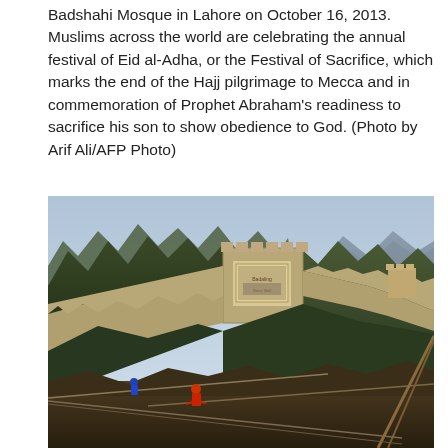Badshahi Mosque in Lahore on October 16, 2013. Muslims across the world are celebrating the annual festival of Eid al-Adha, or the Festival of Sacrifice, which marks the end of the Hajj pilgrimage to Mecca and in commemoration of Prophet Abraham's readiness to sacrifice his son to show obedience to God. (Photo by Arif Ali/AFP Photo)
[Figure (photo): A photograph of the Great Wall of China winding over forested hills with mountains in the background, and tightrope walkers visible on cables in the foreground.]